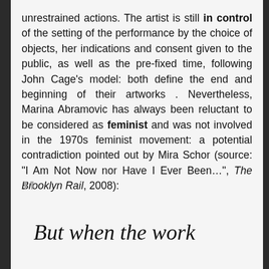unrestrained actions. The artist is still in control of the setting of the performance by the choice of objects, her indications and consent given to the public, as well as the pre-fixed time, following John Cage's model: both define the end and beginning of their artworks . Nevertheless, Marina Abramovic has always been reluctant to be considered as feminist and was not involved in the 1970s feminist movement: a potential contradiction pointed out by Mira Schor (source: "I Am Not Now nor Have I Ever Been…", The Brooklyn Rail, 2008):
But when the work clearly deals with